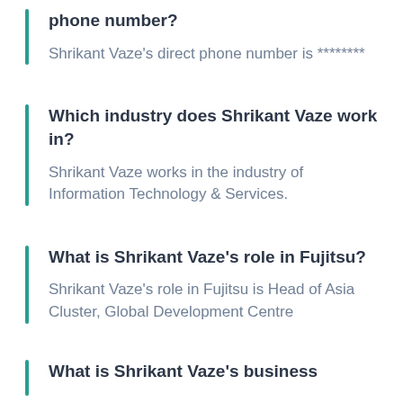phone number?
Shrikant Vaze's direct phone number is ********
Which industry does Shrikant Vaze work in?
Shrikant Vaze works in the industry of Information Technology & Services.
What is Shrikant Vaze's role in Fujitsu?
Shrikant Vaze's role in Fujitsu is Head of Asia Cluster, Global Development Centre
What is Shrikant Vaze's business